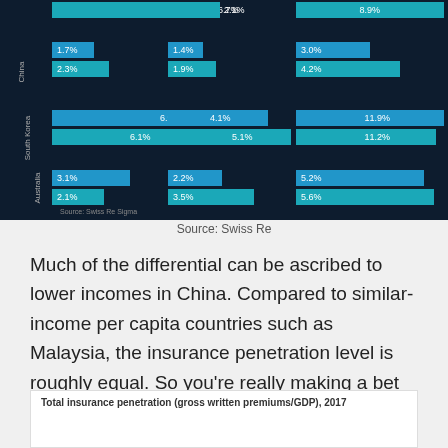[Figure (grouped-bar-chart): Insurance penetration by country]
Source: Swiss Re
Much of the differential can be ascribed to lower incomes in China. Compared to similar-income per capita countries such as Malaysia, the insurance penetration level is roughly equal. So you’re really making a bet on continued GDP growth, which in theory could lead to an S-curve effect of rapidly rising premium growth.
[Figure (bar-chart): Partial view of bar chart showing total insurance penetration rates]